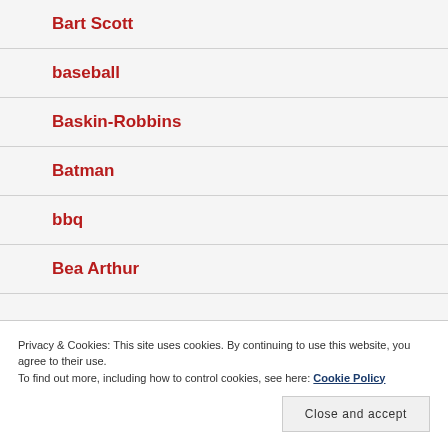Bart Scott
baseball
Baskin-Robbins
Batman
bbq
Bea Arthur
Privacy & Cookies: This site uses cookies. By continuing to use this website, you agree to their use.
To find out more, including how to control cookies, see here: Cookie Policy
Close and accept